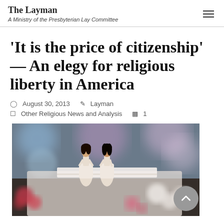The Layman
A Ministry of the Presbyterian Lay Committee
'It is the price of citizenship' — An elegy for religious liberty in America
August 30, 2013   Layman
Other Religious News and Analysis   1
[Figure (photo): Two female wedding cake toppers standing on a wedding cake with pink and white flowers and decorations in the background.]